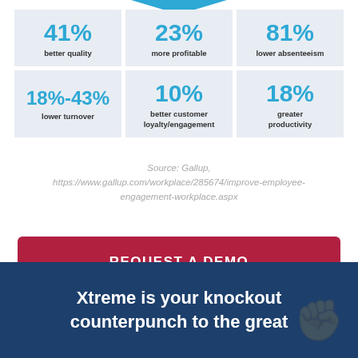[Figure (infographic): Six stat boxes in a 3x2 grid showing employee engagement statistics: 41% better quality, 23% more profitable, 81% lower absenteeism, 18%-43% lower turnover, 10% better customer loyalty/engagement, 18% greater productivity]
Source: Gallup, https://www.gallup.com/workplace/285674/improve-employee-engagement-workplace.aspx
REQUEST A DEMO
Xtreme is your knockout counterpunch to the great